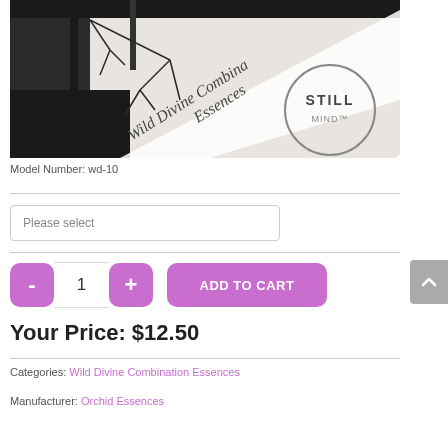[Figure (photo): Product image for Wild Divine Combination Essences - Still Mind. Shows a decorative label with tree/branch artwork and the brand name 'Wild Divine Combination Essences' in script text, with a 'STILL MIND' logo in a circle.]
Model Number: wd-10
Please select
- 1 + ADD TO CART
Your Price: $12.50
Categories: Wild Divine Combination Essences
Manufacturer: Orchid Essences